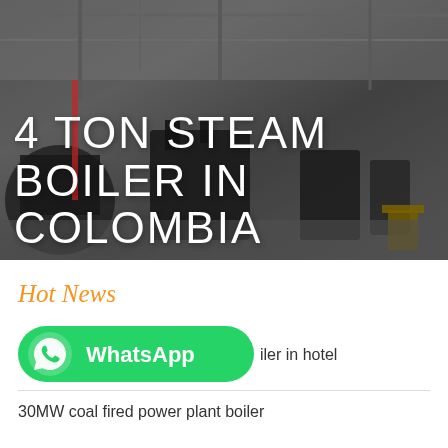[Figure (photo): Industrial boiler manufacturing facility/warehouse with large steam boilers and equipment on the floor, overhead cranes and structural steel framework visible. Dark overlay with white text title overlaid.]
4 TON STEAM BOILER IN COLOMBIA
Hot News
[Figure (logo): WhatsApp logo button - green rounded rectangle with WhatsApp phone icon and 'WhatsApp' text in white]
iler in hotel
30MW coal fired power plant boiler